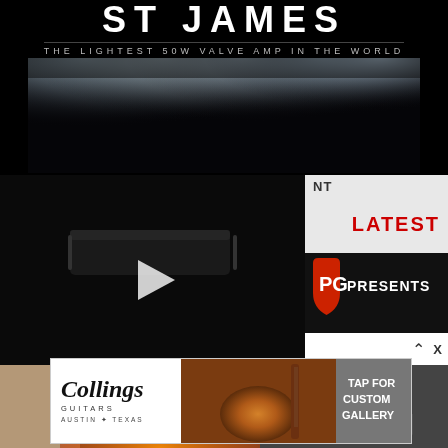THE LIGHTEST 50W VALVE AMP IN THE WORLD
[Figure (photo): Dark stage with spotlights shining down, concert venue atmosphere]
[Figure (screenshot): Video player showing a guitar amplifier (dark rectangular amp) with play button overlay]
NT
LATEST
[Figure (logo): PG (Premier Guitar) logo in red on dark background with PRESENTS text]
[Figure (photo): Person playing guitar on stage]
[Figure (photo): Collings Guitars advertisement showing acoustic guitar with text TAP FOR CUSTOM GALLERY, Collings Guitars Austin Texas branding]